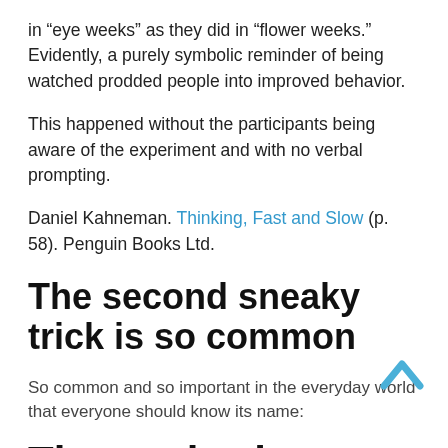in “eye weeks” as they did in “flower weeks.” Evidently, a purely symbolic reminder of being watched prodded people into improved behavior.
This happened without the participants being aware of the experiment and with no verbal prompting.
Daniel Kahneman. Thinking, Fast and Slow (p. 58). Penguin Books Ltd.
The second sneaky trick is so common
So common and so important in the everyday world that everyone should know its name:
The anchoring